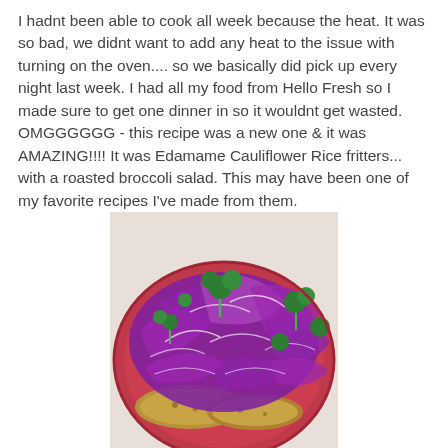I hadnt been able to cook all week because the heat. It was so bad, we didnt want to add any heat to the issue with turning on the oven.... so we basically did pick up every night last week. I had all my food from Hello Fresh so I made sure to get one dinner in so it wouldnt get wasted.  OMGGGGGG - this recipe was a new one & it was AMAZING!!!! It was Edamame Cauliflower Rice fritters... with a roasted broccoli salad. This may have been one of my favorite recipes I've made from them.
[Figure (photo): A red plate topped with purple/red cabbage slaw and roasted broccoli, with golden-brown edamame cauliflower rice fritters visible underneath.]